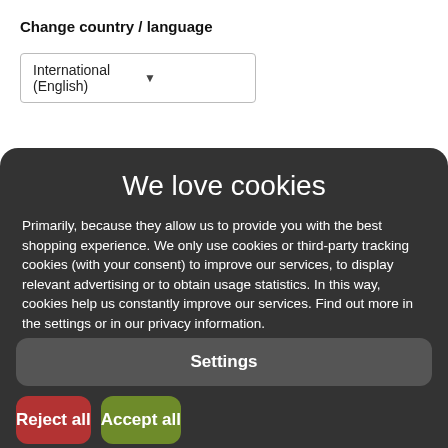Change country / language
[Figure (screenshot): Dropdown selector showing 'International (English)' with a downward arrow]
We love cookies
Primarily, because they allow us to provide you with the best shopping experience. We only use cookies or third-party tracking cookies (with your consent) to improve our services, to display relevant advertising or to obtain usage statistics. In this way, cookies help us constantly improve our services. Find out more in the settings or in our privacy information.
Data protection information
Settings
Reject all
Accept all